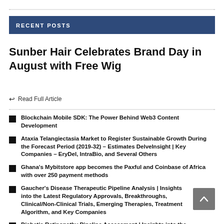RECENT POSTS
Sunber Hair Celebrates Brand Day in August with Free Wig
↩ Read Full Article
Blockchain Mobile SDK: The Power Behind Web3 Content Development
Ataxia Telangiectasia Market to Register Sustainable Growth During the Forecast Period (2019-32) – Estimates DelveInsight | Key Companies – EryDel, IntraBio, and Several Others
Ghana's Mybitstore app becomes the Paxful and Coinbase of Africa with over 250 payment methods
Gaucher's Disease Therapeutic Pipeline Analysis | Insights into the Latest Regulatory Approvals, Breakthroughs, Clinical/Non-Clinical Trials, Emerging Therapies, Treatment Algorithm, and Key Companies
Diabetic Retinopathy Pipeline Assessment | Insights into the